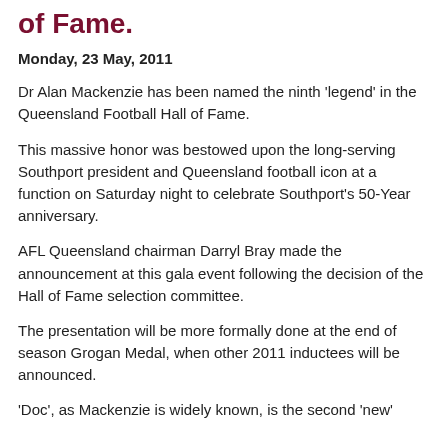of Fame.
Monday, 23 May, 2011
Dr Alan Mackenzie has been named the ninth 'legend' in the Queensland Football Hall of Fame.
This massive honor was bestowed upon the long-serving Southport president and Queensland football icon at a function on Saturday night to celebrate Southport's 50-Year anniversary.
AFL Queensland chairman Darryl Bray made the announcement at this gala event following the decision of the Hall of Fame selection committee.
The presentation will be more formally done at the end of season Grogan Medal, when other 2011 inductees will be announced.
'Doc', as Mackenzie is widely known, is the second 'new'